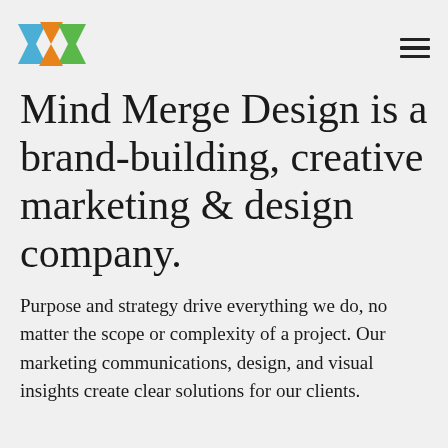[Figure (logo): Mind Merge Design logo: blue, orange, and green geometric arrow/chevron shapes forming an abstract mark]
Mind Merge Design is a brand-building, creative marketing & design company.
Purpose and strategy drive everything we do, no matter the scope or complexity of a project. Our marketing communications, design, and visual insights create clear solutions for our clients.